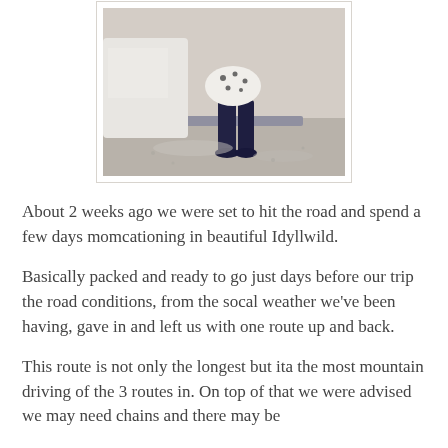[Figure (photo): A person wearing a white polka-dot dress and dark boots standing near a car bumper and curb on a wet surface]
About 2 weeks ago we were set to hit the road and spend a few days momcationing in beautiful Idyllwild.
Basically packed and ready to go just days before our trip the road conditions, from the socal weather we've been having, gave in and left us with one route up and back.
This route is not only the longest but ita the most mountain driving of the 3 routes in. On top of that we were advised we may need chains and there may be